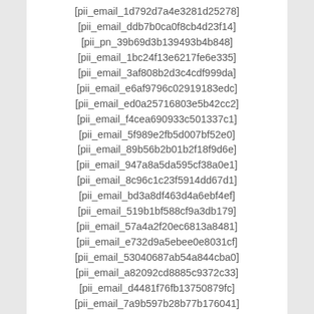[pii_email_1d792d7a4e3281d25278]
[pii_email_ddb7b0ca0f8cb4d23f14]
[pii_pn_39b69d3b139493b4b848]
[pii_email_1bc24f13e6217fe6e335]
[pii_email_3af808b2d3c4cdf999da]
[pii_email_e6af9796c02919183edc]
[pii_email_ed0a25716803e5b42cc2]
[pii_email_f4cea690933c501337c1]
[pii_email_5f989e2fb5d007bf52e0]
[pii_email_89b56b2b01b2f18f9d6e]
[pii_email_947a8a5da595cf38a0e1]
[pii_email_8c96c1c23f5914dd67d1]
[pii_email_bd3a8df463d4a6ebf4ef]
[pii_email_519b1bf588cf9a3db179]
[pii_email_57a4a2f20ec6813a8481]
[pii_email_e732d9a5ebee0e8031cf]
[pii_email_53040687ab54a844cba0]
[pii_email_a82092cd8885c9372c33]
[pii_email_d4481f76fb13750879fc]
[pii_email_7a9b597b28b77b176041]